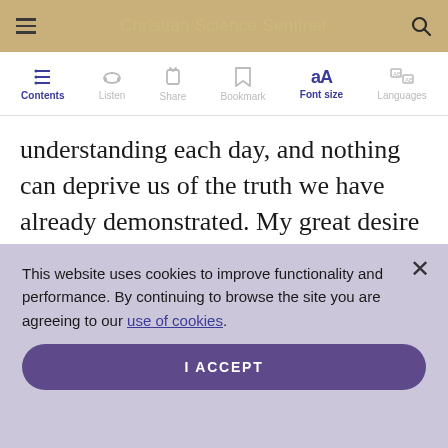Christian Science Sentinel
[Figure (screenshot): Toolbar with icons: Contents (list icon, active/blue), Listen (headphones), Share (share icon), Bookmark, Font size (aA, active/blue), Languages]
understanding each day, and nothing can deprive us of the truth we have already demonstrated. My great desire is to have
This website uses cookies to improve functionality and performance. By continuing to browse the site you are agreeing to our use of cookies.
I ACCEPT